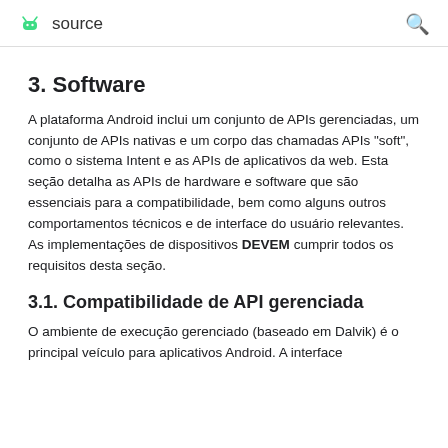source
3. Software
A plataforma Android inclui um conjunto de APIs gerenciadas, um conjunto de APIs nativas e um corpo das chamadas APIs "soft", como o sistema Intent e as APIs de aplicativos da web. Esta seção detalha as APIs de hardware e software que são essenciais para a compatibilidade, bem como alguns outros comportamentos técnicos e de interface do usuário relevantes. As implementações de dispositivos DEVEM cumprir todos os requisitos desta seção.
3.1. Compatibilidade de API gerenciada
O ambiente de execução gerenciado (baseado em Dalvik) é o principal veículo para aplicativos Android. A interface